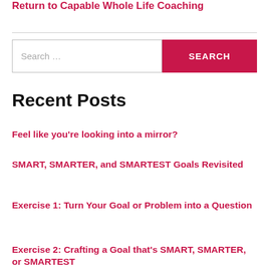Return to Capable Whole Life Coaching
Recent Posts
Feel like you're looking into a mirror?
SMART, SMARTER, and SMARTEST Goals Revisited
Exercise 1: Turn Your Goal or Problem into a Question
Exercise 2: Crafting a Goal that's SMART, SMARTER, or SMARTEST